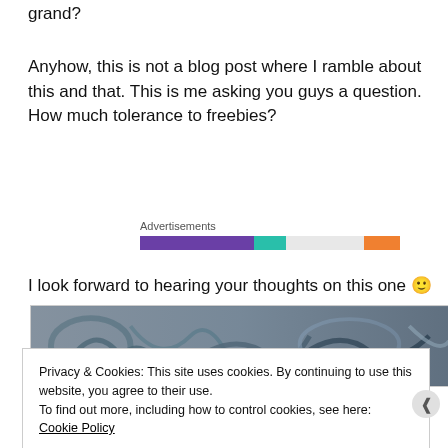grand?
Anyhow,  this is not a blog post where I ramble about this and that. This is me asking you guys a question. How much tolerance to freebies?
[Figure (infographic): Advertisements label above a horizontal bar made of colored segments: purple, teal, light gray, and orange]
I look forward to hearing your thoughts on this one 🙂
[Figure (photo): Photo of decorative metal graffiti or ironwork, dark teal and gray tones]
Privacy & Cookies: This site uses cookies. By continuing to use this website, you agree to their use.
To find out more, including how to control cookies, see here: Cookie Policy
Close and accept